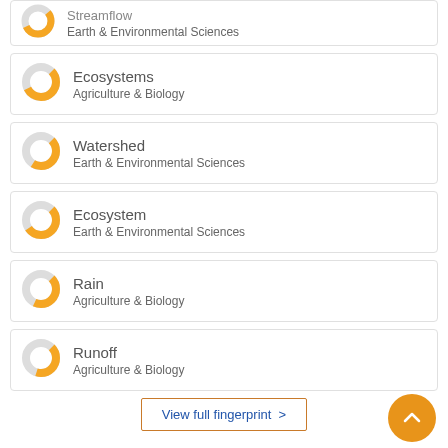Streamflow — Earth & Environmental Sciences
Ecosystems — Agriculture & Biology
Watershed — Earth & Environmental Sciences
Ecosystem — Earth & Environmental Sciences
Rain — Agriculture & Biology
Runoff — Agriculture & Biology
View full fingerprint >